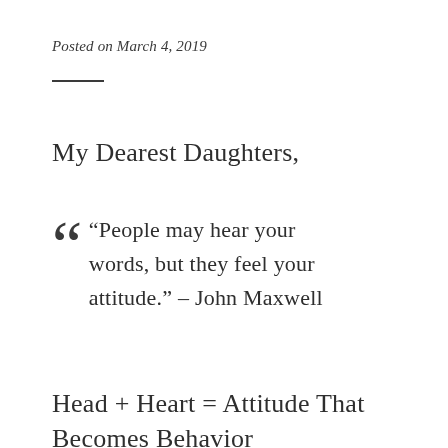Posted on March 4, 2019
My Dearest Daughters,
“People may hear your words, but they feel your attitude.” – John Maxwell
Head + Heart = Attitude That Becomes Behavior